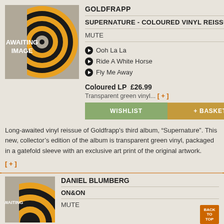[Figure (illustration): Vinyl record awaiting image placeholder with concentric orange, black, and yellow circles on grey background with text AWAITING IMAGE]
GOLDFRAPP
SUPERNATURE - COLOURED VINYL REISSUE
MUTE
Ooh La La
Ride A White Horse
Fly Me Away
Coloured LP  £26.99
Transparent green vinyl... [+]
WISHLIST
+ BASKET
Long-awaited vinyl reissue of Goldfrapp's third album, “Supernature”. This new, collector's edition of the album is transparent green vinyl, packaged in a gatefold sleeve with an exclusive art print of the original artwork.
[+]
[Figure (illustration): Vinyl record awaiting image placeholder partial view]
DANIEL BLUMBERG
ON&ON
MUTE